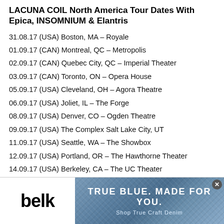LACUNA COIL North America Tour Dates With Epica, INSOMNIUM & Elantris
31.08.17 (USA) Boston, MA – Royale
01.09.17 (CAN) Montreal, QC – Metropolis
02.09.17 (CAN) Quebec City, QC – Imperial Theater
03.09.17 (CAN) Toronto, ON – Opera House
05.09.17 (USA) Cleveland, OH – Agora Theatre
06.09.17 (USA) Joliet, IL – The Forge
08.09.17 (USA) Denver, CO – Ogden Theatre
09.09.17 (USA) The Complex Salt Lake City, UT
11.09.17 (USA) Seattle, WA – The Showbox
12.09.17 (USA) Portland, OR – The Hawthorne Theater
14.09.17 (USA) Berkeley, CA – The UC Theater
15.09.17 (USA) Los Angeles, CA – The Novo
[Figure (advertisement): Belk advertisement banner: 'TRUE BLUE. MADE FOR YOU. Shop True Craft Denim' with denim fabric background]